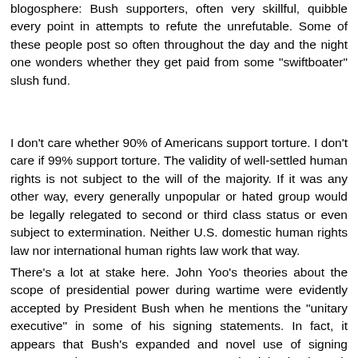blogosphere: Bush supporters, often very skillful, quibble every point in attempts to refute the unrefutable. Some of these people post so often throughout the day and the night one wonders whether they get paid from some "swiftboater" slush fund.
I don't care whether 90% of Americans support torture. I don't care if 99% support torture. The validity of well-settled human rights is not subject to the will of the majority. If it was any other way, every generally unpopular or hated group would be legally relegated to second or third class status or even subject to extermination. Neither U.S. domestic human rights law nor international human rights law work that way.
There's a lot at stake here. John Yoo's theories about the scope of presidential power during wartime were evidently accepted by President Bush when he mentions the "unitary executive" in some of his signing statements. In fact, it appears that Bush's expanded and novel use of signing statements is an attempt to create precedential value in such statements. Through the dissipating fog we can see some luminous evidence that dismissiting to object to